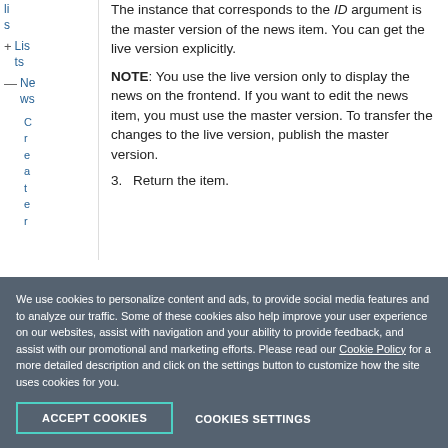lists
+ Lists
— News
Creator
The instance that corresponds to the ID argument is the master version of the news item. You can get the live version explicitly.
NOTE: You use the live version only to display the news on the frontend. If you want to edit the news item, you must use the master version. To transfer the changes to the live version, publish the master version.
3. Return the item.
We use cookies to personalize content and ads, to provide social media features and to analyze our traffic. Some of these cookies also help improve your user experience on our websites, assist with navigation and your ability to provide feedback, and assist with our promotional and marketing efforts. Please read our Cookie Policy for a more detailed description and click on the settings button to customize how the site uses cookies for you.
ACCEPT COOKIES
COOKIES SETTINGS